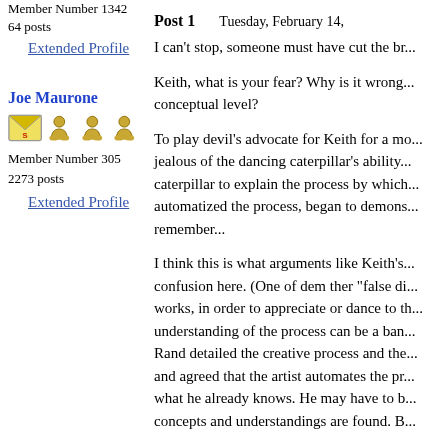Member Number 1342
64 posts
Extended Profile
Joe Maurone
[Figure (illustration): Envelope icon with letter S and three golden globe/figure icons in a row]
Member Number 305
2273 posts
Extended Profile
Post 1    Tuesday, February 14,
I can't stop, someone must have cut the br...
Keith, what is your fear? Why is it wrong... conceptual level?
To play devil's advocate for Keith for a mo... jealous of the dancing caterpillar's ability... caterpillar to explain the process by which... automatized the process, began to demons... remember...
I think this is what arguments like Keith's... confusion here. (One of dem ther "false di... works, in order to appreciate or dance to th... understanding of the process can be a ban... Rand detailed the creative process and the... and agreed that the artist automates the pr... what he already knows. He may have to b... concepts and understandings are found. B...